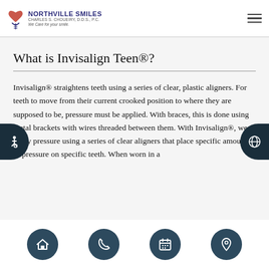NORTHVILLE SMILES | CHARLES S. CHOUEIRY, D.D.S., P.C. | We Care for your smile.
What is Invisalign Teen®?
Invisalign® straightens teeth using a series of clear, plastic aligners. For teeth to move from their current crooked position to where they are supposed to be, pressure must be applied. With braces, this is done using metal brackets with wires threaded between them. With Invisalign®, we apply pressure using a series of clear aligners that place specific amounts of pressure on specific teeth. When worn in a
Home | Phone | Calendar | Location